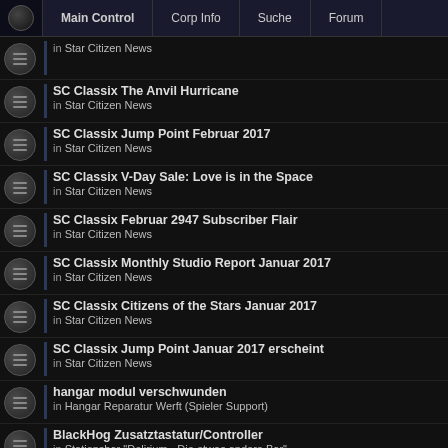Main Control | Corp Info | Suche | Forum
in Star Citizen News
SC Classix The Anvil Hurricane
in Star Citizen News
SC Classix Jump Point Februar 2017
in Star Citizen News
SC Classix V-Day Sale: Love is in the Space
in Star Citizen News
SC Classix Februar 2947 Subscriber Flair
in Star Citizen News
SC Classix Monthly Studio Report Januar 2017
in Star Citizen News
SC Classix Citizens of the Stars Januar 2017
in Star Citizen News
SC Classix Jump Point Januar 2017 erscheint
in Star Citizen News
hangar modul verschwunden
in Hangar Reparatur Werft (Spieler Support)
BlackHog Zusatztastatur/Controller
in Stationsbar "Delirium - Die etwas andere Bar"
Display posts from previous: All resu
Page 1 of 15    [ Search found 367 matches ]
Board index